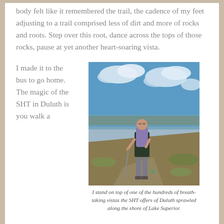body felt like it remembered the trail, the cadence of my feet adjusting to a trail comprised less of dirt and more of rocks and roots. Step over this root, dance across the tops of those rocks, pause at yet another heart-soaring vista.
I made it to the bus to go home. The magic of the SHT in Duluth is you walk a
[Figure (photo): A hiker with a backpack and trekking pole stands on a rocky trail at a high vantage point overlooking Duluth and Lake Superior under a partly cloudy blue sky.]
I stand on top of one of the hundreds of breath-taking vistas the SHT offers of Duluth sprawled along the shore of Lake Superior.